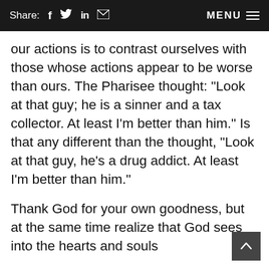Share: f  in  [mail]   MENU ≡
our actions is to contrast ourselves with those whose actions appear to be worse than ours. The Pharisee thought: “Look at that guy; he is a sinner and a tax collector. At least I’m better than him.” Is that any different than the thought, “Look at that guy, he’s a drug addict. At least I’m better than him.”
Thank God for your own goodness, but at the same time realize that God sees into the hearts and souls